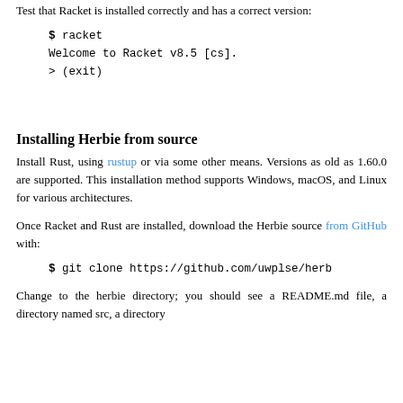Test that Racket is installed correctly and has a correct version:
$ racket
Welcome to Racket v8.5 [cs].
> (exit)
Installing Herbie from source
Install Rust, using rustup or via some other means. Versions as old as 1.60.0 are supported. This installation method supports Windows, macOS, and Linux for various architectures.
Once Racket and Rust are installed, download the Herbie source from GitHub with:
$ git clone https://github.com/uwplse/herb
Change to the herbie directory; you should see a README.md file, a directory named src, a directory